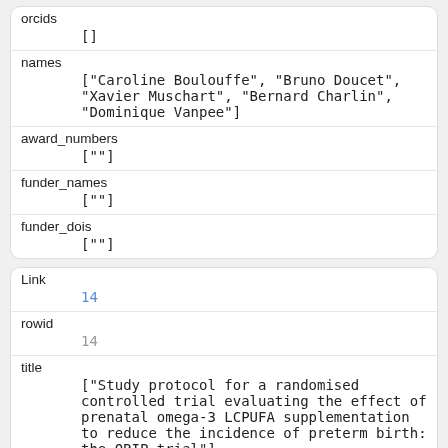| field | value |
| --- | --- |
| orcids | [] |
| names | ["Caroline Boulouffe", "Bruno Doucet", "Xavier Muschart", "Bernard Charlin", "Dominique Vanpee"] |
| award_numbers | [""] |
| funder_names | [""] |
| funder_dois | [""] |
| field | value |
| --- | --- |
| Link | 14 |
| rowid | 14 |
| title | ["Study protocol for a randomised controlled trial evaluating the effect of prenatal omega-3 LCPUFA supplementation to reduce the incidence of preterm birth: the ORIP trial"] |